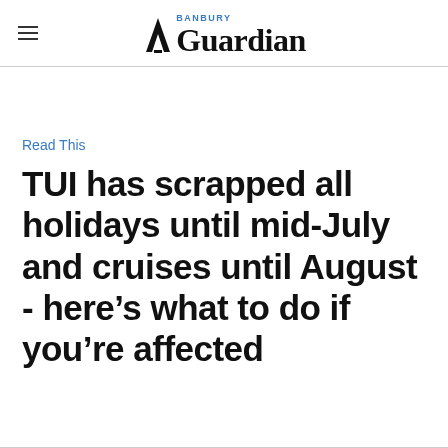Banbury Guardian
Read This
TUI has scrapped all holidays until mid-July and cruises until August - here's what to do if you're affected